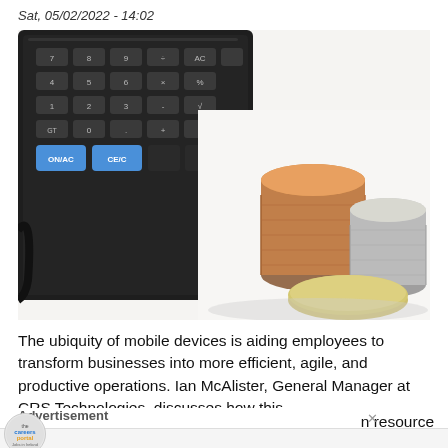Sat, 05/02/2022 - 14:02
[Figure (photo): A black calculator next to stacks of coins (copper and silver/gold) on a white background]
The ubiquity of mobile devices is aiding employees to transform businesses into more efficient, agile, and productive operations. Ian McAlister, General Manager at CRS Technologies, discusses how this
Advertisement
n resource
[Figure (infographic): Advertisement banner: CareersPortal logo with text 'Unemployed Graduate?ee']